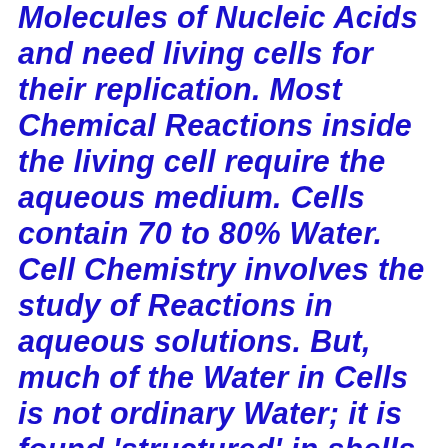Molecules of Nucleic Acids and need living cells for their replication. Most Chemical Reactions inside the living cell require the aqueous medium. Cells contain 70 to 80% Water. Cell Chemistry involves the study of Reactions in aqueous solutions. But, much of the Water in Cells is not ordinary Water; it is found 'structured' in shells surrounding macromolecules, especially proteins. The activities inside the Cell are separated and take place inside compartments that are regulated. It is important to know